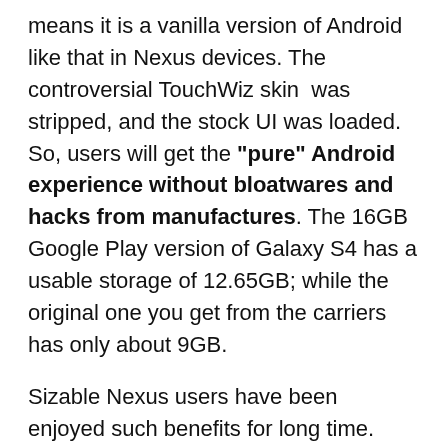means it is a vanilla version of Android like that in Nexus devices. The controversial TouchWiz skin  was stripped, and the stock UI was loaded. So, users will get the "pure" Android experience without bloatwares and hacks from manufactures. The 16GB Google Play version of Galaxy S4 has a usable storage of 12.65GB; while the original one you get from the carriers has only about 9GB.
Sizable Nexus users have been enjoyed such benefits for long time.  Nexus devices receive the update from Google directly. This means once the new version of Android is